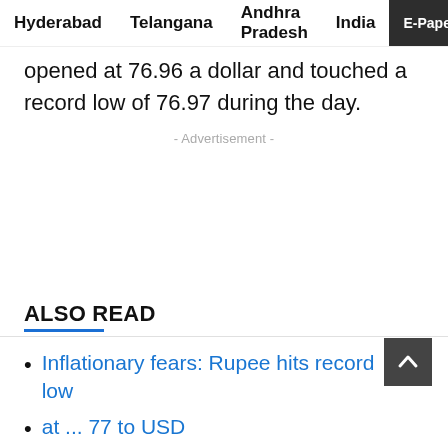Hyderabad   Telangana   Andhra Pradesh   India   E-Paper
opened at 76.96 a dollar and touched a record low of 76.97 during the day.
- Advertisement -
ALSO READ
Inflationary fears: Rupee hits record low
at ... 77 to USD